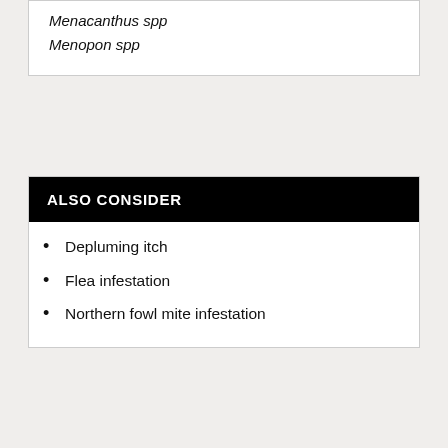Menacanthus spp
Menopon spp
ALSO CONSIDER
Depluming itch
Flea infestation
Northern fowl mite infestation